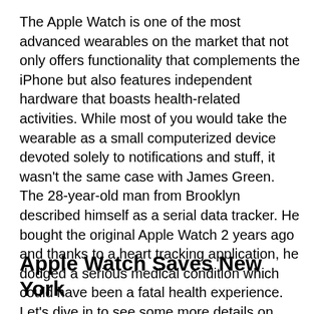The Apple Watch is one of the most advanced wearables on the market that not only offers functionality that complements the iPhone but also features independent hardware that boasts health-related activities. While most of you would take the wearable as a small computerized device devoted solely to notifications and stuff, it wasn't the same case with James Green. The 28-year-old man from Brooklyn described himself as a serial data tracker. He bought the original Apple Watch 2 years ago and thanks to a heart tracking application, he dodged a serious medical condition which could have been a fatal health experience. Let's dive in to see some more details on the subject.
Apple Watch Saves New York